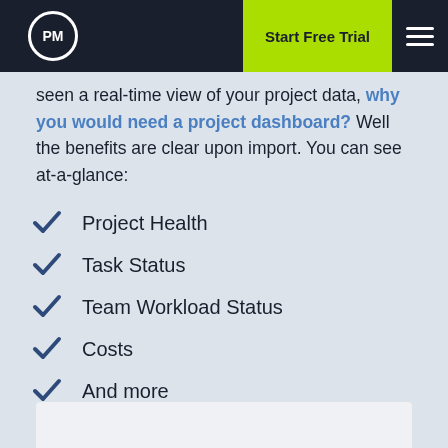PM | Start Free Trial
seen a real-time view of your project data, why you would need a project dashboard? Well the benefits are clear upon import. You can see at-a-glance:
Project Health
Task Status
Team Workload Status
Costs
And more